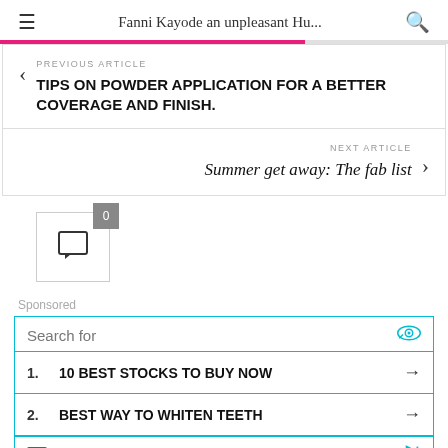Fanni Kayode an unpleasant Hu...
PREVIOUS ARTICLE
TIPS ON POWDER APPLICATION FOR A BETTER COVERAGE AND FINISH.
NEXT ARTICLE
Summer get away: The fab list
[Figure (other): Comment button with badge showing 0 comments]
Sponsored
Search for
1. 10 BEST STOCKS TO BUY NOW
2. BEST WAY TO WHITEN TEETH
Ad | Business Focus